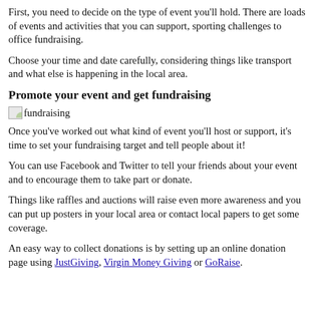First, you need to decide on the type of event you'll hold. There are loads of events and activities that you can support, sporting challenges to office fundraising.
Choose your time and date carefully, considering things like transport and what else is happening in the local area.
Promote your event and get fundraising
[Figure (photo): Small image placeholder labelled 'fundraising']
Once you've worked out what kind of event you'll host or support, it's time to set your fundraising target and tell people about it!
You can use Facebook and Twitter to tell your friends about your event and to encourage them to take part or donate.
Things like raffles and auctions will raise even more awareness and you can put up posters in your local area or contact local papers to get some coverage.
An easy way to collect donations is by setting up an online donation page using JustGiving, Virgin Money Giving or GoRaise.